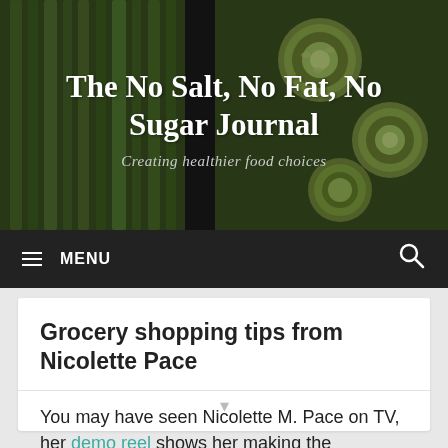[Figure (photo): Hero banner showing green asparagus and sliced zucchini vegetables on a dark background, with overlay text]
The No Salt, No Fat, No Sugar Journal
Creating healthier food choices
≡ MENU
Grocery shopping tips from Nicolette Pace
You may have seen Nicolette M. Pace on TV, her demo reel shows her making the